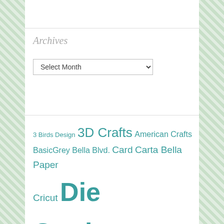Archives
Select Month (dropdown)
[Figure (other): Tag cloud with scrapbooking-related tags in teal color at various font sizes: 3 Birds Design, 3D Crafts, American Crafts, BasicGrey, Bella Blvd., Card, Carta Bella Paper, Cricut, Die Cutting, Doodlebug, Echo Park Paper, Lettering Delights, Mini Album, My Mind's Eye, Noel Mignon, Organization, PageMaps, Pocket Pages, Queen & Company, Scrapbook Page]